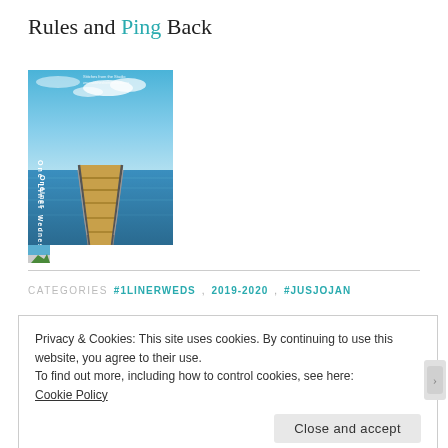Rules and Ping Back
[Figure (photo): A wooden pier extending over calm blue water under a partly cloudy sky, with text 'One Liner Wednesday' vertically along the left side of the image.]
CATEGORIES  #1LINERWEDS, 2019-2020, #JUSJOJAN
Privacy & Cookies: This site uses cookies. By continuing to use this website, you agree to their use.
To find out more, including how to control cookies, see here:
Cookie Policy
Close and accept